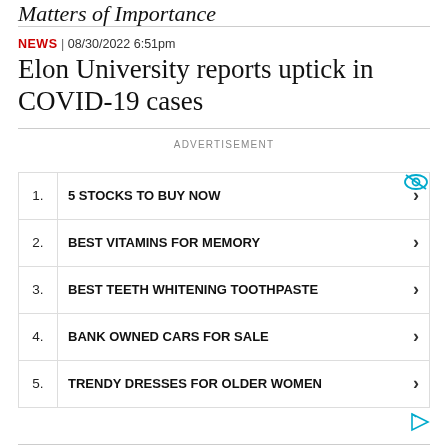Matters of Importance
NEWS | 08/30/2022 6:51pm
Elon University reports uptick in COVID-19 cases
ADVERTISEMENT
1. 5 STOCKS TO BUY NOW
2. BEST VITAMINS FOR MEMORY
3. BEST TEETH WHITENING TOOTHPASTE
4. BANK OWNED CARS FOR SALE
5. TRENDY DRESSES FOR OLDER WOMEN